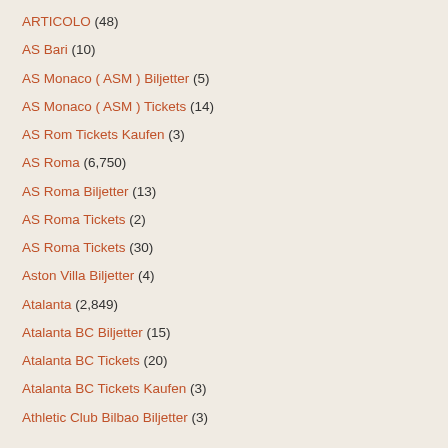ARTICOLO (48)
AS Bari (10)
AS Monaco ( ASM ) Biljetter (5)
AS Monaco ( ASM ) Tickets (14)
AS Rom Tickets Kaufen (3)
AS Roma (6,750)
AS Roma Biljetter (13)
AS Roma Tickets (2)
AS Roma Tickets (30)
Aston Villa Biljetter (4)
Atalanta (2,849)
Atalanta BC Biljetter (15)
Atalanta BC Tickets (20)
Atalanta BC Tickets Kaufen (3)
Athletic Club Bilbao Biljetter (3)